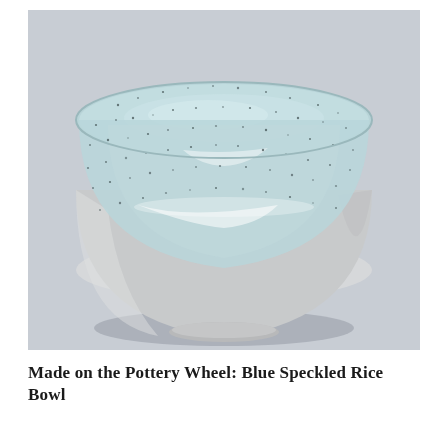[Figure (photo): A ceramic rice bowl with a light blue speckled glaze on the interior and a smooth matte white/grey exterior. The bowl is photographed from slightly above against a light grey-white background, showing the inside of the bowl with visible glaze highlights and dark speckles.]
Made on the Pottery Wheel: Blue Speckled Rice Bowl